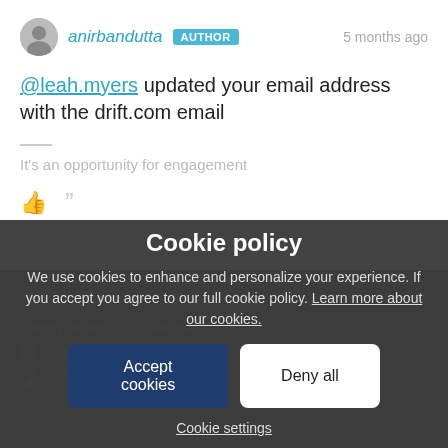anirbandutta AUTHOR — 5 months ago
@leah.myers updated your email address with the drift.com email
It's an opportunity for engagement
[Figure (screenshot): Dimmed background showing another comment with avatar, username, text 'Happy to see this, thanks!', '1 person' reaction, and action icons]
Cookie policy
We use cookies to enhance and personalize your experience. If you accept you agree to our full cookie policy. Learn more about our cookies.
Accept cookies  Deny all
Cookie settings